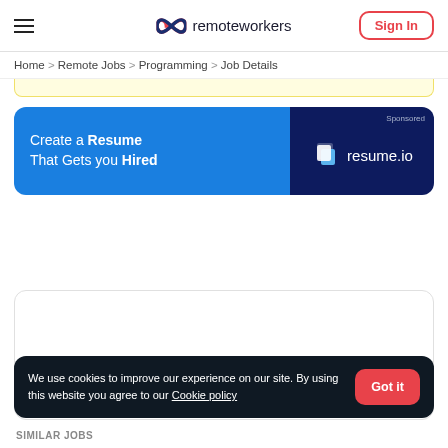remoteworkers | Sign In
Home > Remote Jobs > Programming > Job Details
[Figure (infographic): Ad banner: 'Create a Resume That Gets you Hired' on blue background left side, resume.io logo on dark navy right side with Sponsored label]
We use cookies to improve our experience on our site. By using this website you agree to our Cookie policy
SIMILAR JOBS